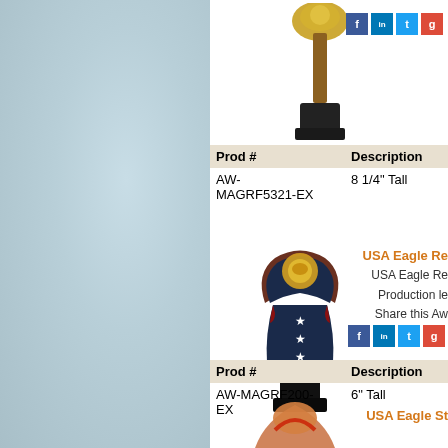[Figure (photo): Trophy with gold eagle top on black base, top product]
[Figure (infographic): Social media share icons: Facebook, LinkedIn, Twitter, Google+]
| Prod # | Description |
| --- | --- |
| AW-MAGRF5321-EX | 8 1/4" Tall |
[Figure (photo): USA Eagle Resin trophy - dark blue/maroon with gold eagle top and stars, mid product]
USA Eagle Re...
USA Eagle Re...
Production le...
Share this Aw...
[Figure (infographic): Social media share icons: Facebook, LinkedIn, Twitter, Google+]
| Prod # | Description |
| --- | --- |
| AW-MAGRF200-EX | 6" Tall |
[Figure (photo): USA Eagle Star trophy partial view at bottom]
USA Eagle St...